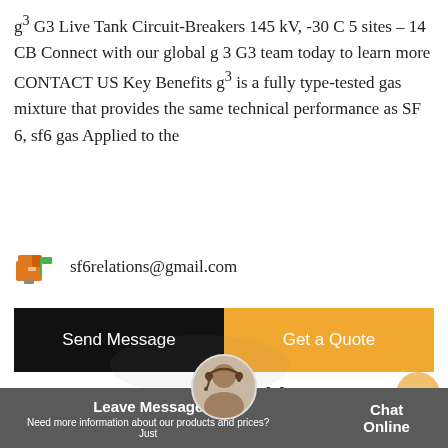g³ G3 Live Tank Circuit-Breakers 145 kV, -30 C 5 sites – 14 CB Connect with our global g 3 G3 team today to learn more CONTACT US Key Benefits g³ is a fully type-tested gas mixture that provides the same technical performance as SF 6, sf6 gas Applied to the
sf6relations@gmail.com
Send Message
Get a Quote
Stay Touch With Us
Leave Message | Chat Online | Need more information about our products and prices?Just